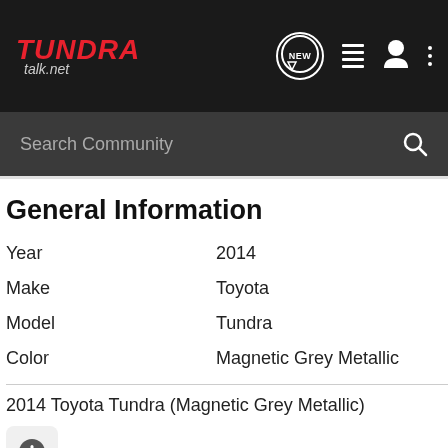TUNDRA talk.net
General Information
Year    2014
Make    Toyota
Model    Tundra
Color    Magnetic Grey Metallic
2014 Toyota Tundra (Magnetic Grey Metallic)